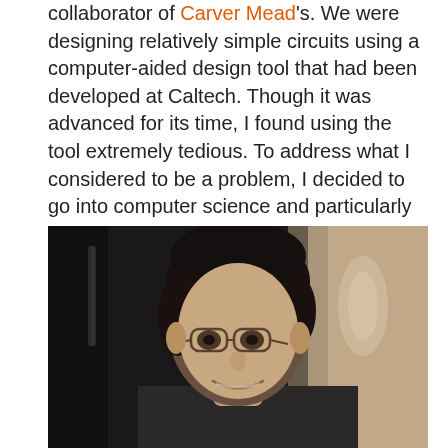collaborator of Carver Mead's. We were designing relatively simple circuits using a computer-aided design tool that had been developed at Caltech. Though it was advanced for its time, I found using the tool extremely tedious. To address what I considered to be a problem, I decided to go into computer science and particularly study how to use silicon compilers and artificial intelligence to automatically design circuits. While I no longer focus on circuit design, the use of intelligent tools combined with data became a topic that keeps me busy to this day.
[Figure (photo): Portrait photograph of a middle-aged man with dark hair wearing glasses, smiling, photographed against a dark background with a lighter background to the right.]